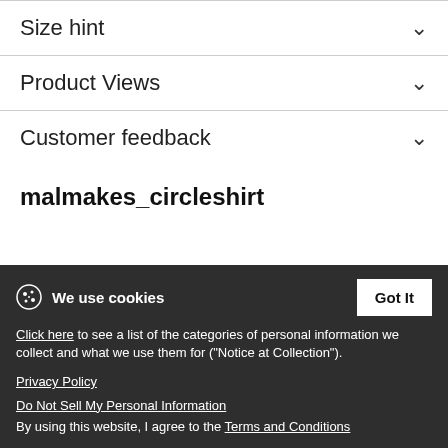Size hint
Product Views
Customer feedback
malmakes_circleshirt
[Figure (logo): Circular logo for malmakes_circleshirt shop showing colorful watercolor-like background with stylized 'mal Makes' text in white]
We use cookies
Click here to see a list of the categories of personal information we collect and what we use them for ("Notice at Collection").
Privacy Policy
Do Not Sell My Personal Information
By using this website, I agree to the Terms and Conditions